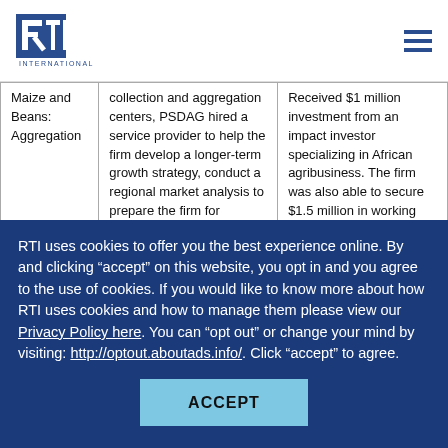RTI International logo and navigation menu
| Commodity/Sector | BDS Description | Results |
| --- | --- | --- |
| Maize and Beans: Aggregation | collection and aggregation centers, PSDAG hired a service provider to help the firm develop a longer-term growth strategy, conduct a regional market analysis to prepare the firm for expansion into exports, and link the firm to potential regional investors. The provided BDS was intended to help the business tap into export markets, which is key to achieving true economies of scale given the relatively small domestic | Received $1 million investment from an impact investor specializing in African agribusiness. The firm was also able to secure $1.5 million in working capital loans, which is crucial to enable them to operate at full capacity during |
RTI uses cookies to offer you the best experience online. By and clicking “accept” on this website, you opt in and you agree to the use of cookies. If you would like to know more about how RTI uses cookies and how to manage them please view our Privacy Policy here. You can “opt out” or change your mind by visiting: http://optout.aboutads.info/. Click “accept” to agree.